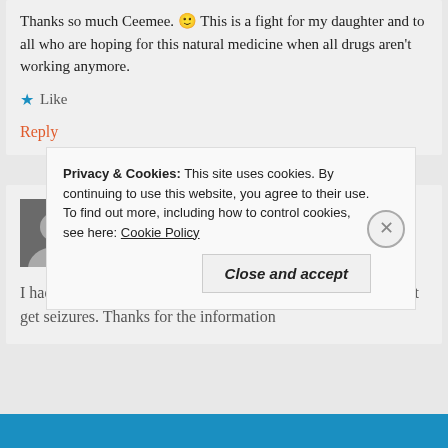Thanks so much Ceemee. 🙂 This is a fight for my daughter and to all who are hoping for this natural medicine when all drugs aren't working anymore.
★ Like
Reply
vance   03/27/2015 at 3:27 pm
I had no idea about epilepsy except that these are the ones that get seizures. Thanks for the information
Privacy & Cookies: This site uses cookies. By continuing to use this website, you agree to their use.
To find out more, including how to control cookies, see here: Cookie Policy
Close and accept